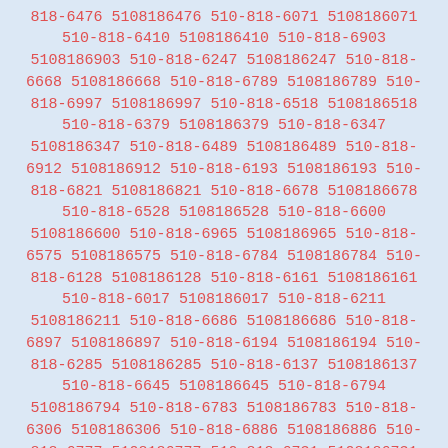510-818-6941 5108186941 510-818-6630 5108186630 510-818-6121 5108186121 510-818-6535 5108186535 510-818-6204 5108186204 510-818-6476 5108186476 510-818-6071 5108186071 510-818-6410 5108186410 510-818-6903 5108186903 510-818-6247 5108186247 510-818-6668 5108186668 510-818-6789 5108186789 510-818-6997 5108186997 510-818-6518 5108186518 510-818-6379 5108186379 510-818-6347 5108186347 510-818-6489 5108186489 510-818-6912 5108186912 510-818-6193 5108186193 510-818-6821 5108186821 510-818-6678 5108186678 510-818-6528 5108186528 510-818-6600 5108186600 510-818-6965 5108186965 510-818-6575 5108186575 510-818-6784 5108186784 510-818-6128 5108186128 510-818-6161 5108186161 510-818-6017 5108186017 510-818-6211 5108186211 510-818-6686 5108186686 510-818-6897 5108186897 510-818-6194 5108186194 510-818-6285 5108186285 510-818-6137 5108186137 510-818-6645 5108186645 510-818-6794 5108186794 510-818-6783 5108186783 510-818-6306 5108186306 510-818-6886 5108186886 510-818-6777 5108186777 510-818-6731 5108186731 510-818-6411 5108186411 510-818-6859 5108186859 510-818-6778 5108186778